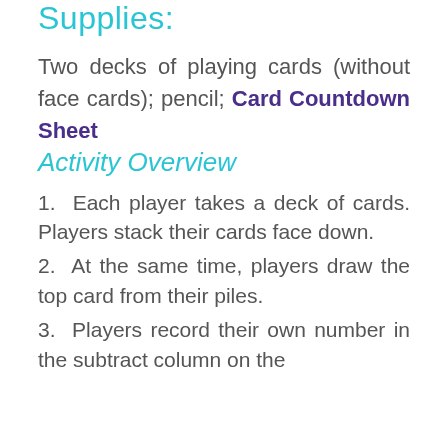Supplies:
Two decks of playing cards (without face cards); pencil; Card Countdown Sheet
Activity Overview
1.  Each player takes a deck of cards. Players stack their cards face down.
2.  At the same time, players draw the top card from their piles.
3.  Players record their own number in the subtract column on the